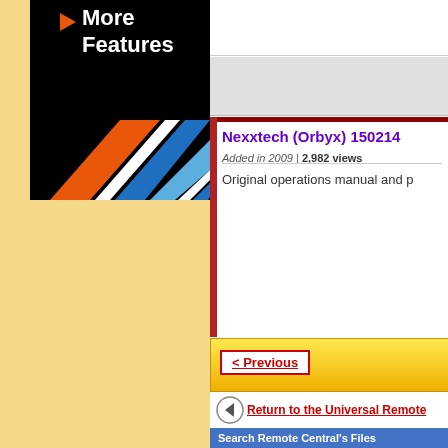[Figure (illustration): Black box with diagonal colored stripes (blue, light blue, orange, white) and 'More Features' text with orange play arrow]
Nexxtech (Orbyx) 150214
Added in 2009 | 2,982 views
Original operations manual and p
< Previous
Return to the Universal Remote
Search Remote Central's Files